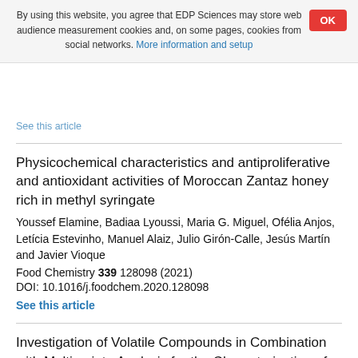By using this website, you agree that EDP Sciences may store web audience measurement cookies and, on some pages, cookies from social networks. More information and setup
See this article
Physicochemical characteristics and antiproliferative and antioxidant activities of Moroccan Zantaz honey rich in methyl syringate
Youssef Elamine, Badiaa Lyoussi, Maria G. Miguel, Ofélia Anjos, Letícia Estevinho, Manuel Alaiz, Julio Girón-Calle, Jesús Martín and Javier Vioque
Food Chemistry 339 128098 (2021)
DOI: 10.1016/j.foodchem.2020.128098
See this article
Investigation of Volatile Compounds in Combination with Multivariate Analysis for the Characterization of